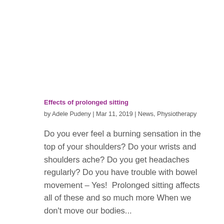Effects of prolonged sitting
by Adele Pudeny | Mar 11, 2019 | News, Physiotherapy
Do you ever feel a burning sensation in the top of your shoulders? Do your wrists and shoulders ache? Do you get headaches regularly? Do you have trouble with bowel movement – Yes!  Prolonged sitting affects all of these and so much more When we don't move our bodies...